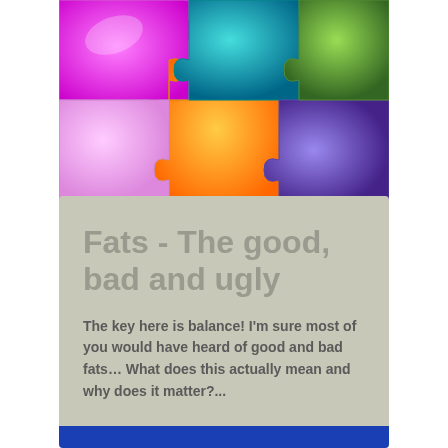[Figure (illustration): Colorful jigsaw puzzle pieces in pink, orange, teal/cyan, purple, green, and blue arranged in a grid pattern]
Fats - The good, bad and ugly
The key here is balance! I'm sure most of you would have heard of good and bad fats… What does this actually mean and why does it matter?...